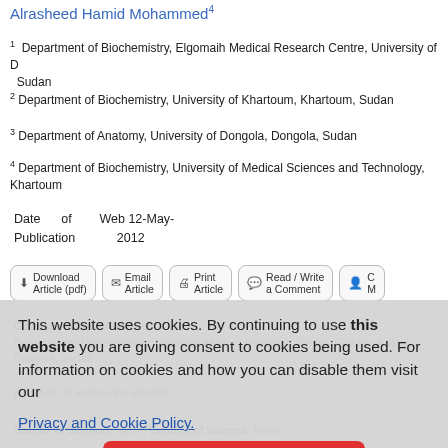Alrasheed Hamid Mohammed4
1 Department of Biochemistry, Elgomaih Medical Research Centre, University of D Sudan
2 Department of Biochemistry, University of Khartoum, Khartoum, Sudan
3 Department of Anatomy, University of Dongola, Dongola, Sudan
4 Department of Biochemistry, University of Medical Sciences and Technology, Khartoum
Date of Web Publication 12-May-2012
This website uses cookies. By continuing to use this website you are giving consent to cookies being used. For information on cookies and how you can disable them visit our Privacy and Cookie Policy.
Correspondence Address:
Department of Biochemistry, Elgomaih Medical Research Centre, Faculty of Medicine, Dongola, Sudan
Login to access the email ID
Source of Support: None, Conflict of Interest: None